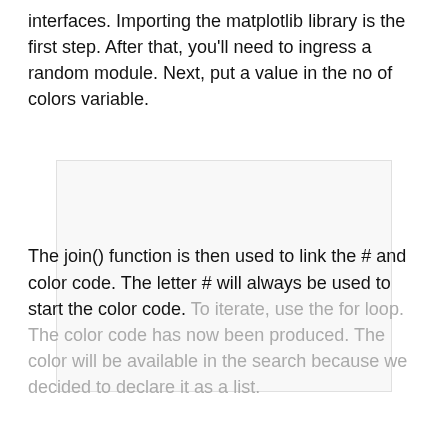interfaces. Importing the matplotlib library is the first step. After that, you'll need to ingress a random module. Next, put a value in the no of colors variable.
[Figure (other): A large blank/white rectangular area, likely a code block or image placeholder.]
The join() function is then used to link the # and color code. The letter # will always be used to start the color code. To iterate, use the for loop. The color code has now been produced. The color will be available in the search because we decided to declare it as a list.